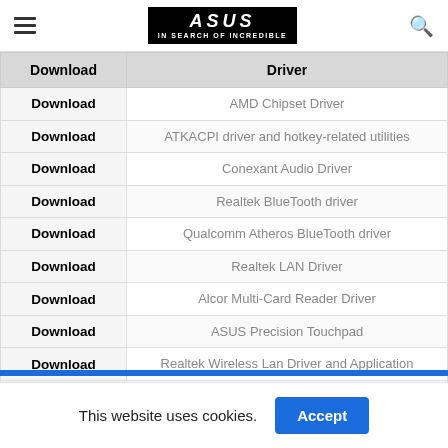ASUS — In Search of Incredible
| Download | Driver |
| --- | --- |
| Download | AMD Chipset Driver |
| Download | ATKACPI driver and hotkey-related utilities |
| Download | Conexant Audio Driver |
| Download | Realtek BlueTooth driver |
| Download | Qualcomm Atheros BlueTooth driver |
| Download | Realtek LAN Driver |
| Download | Alcor Multi-Card Reader Driver |
| Download | ASUS Precision Touchpad |
| Download | Realtek Wireless Lan Driver and Application |
| Download | Qualcomm Atheros Wireless Lan Driver and Application |
| Download | ASUS Wireless Radio Control (A driver to make you switch Airplane mode/Wirele… |
This website uses cookies.
Accept